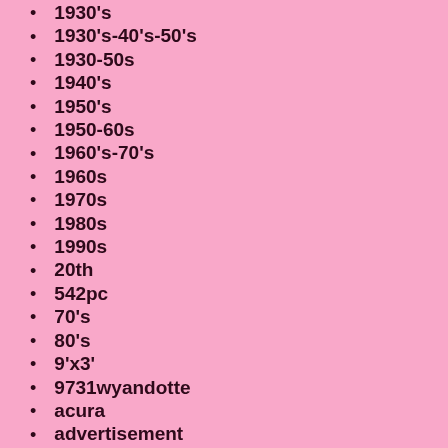1930's
1930's-40's-50's
1930-50s
1940's
1950's
1950-60s
1960's-70's
1960s
1970s
1980s
1990s
20th
542pc
70's
80's
9'x3'
9731wyandotte
acura
advertisement